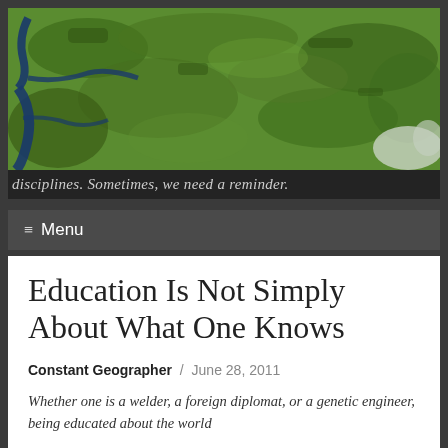[Figure (photo): Aerial/satellite photograph showing green landscape with blue rivers/waterways, wetlands and terrain viewed from above.]
disciplines. Sometimes, we need a reminder.
≡ Menu
Education Is Not Simply About What One Knows
Constant Geographer / June 28, 2011
Whether one is a welder, a foreign diplomat, or a genetic engineer, being educated about the world